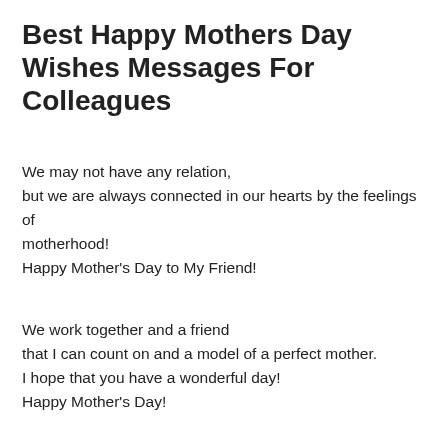Best Happy Mothers Day Wishes Messages For Colleagues
We may not have any relation,
but we are always connected in our hearts by the feelings of motherhood!
Happy Mother's Day to My Friend!
We work together and a friend
that I can count on and a model of a perfect mother.
I hope that you have a wonderful day!
Happy Mother's Day!